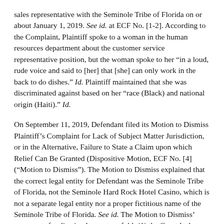sales representative with the Seminole Tribe of Florida on or about January 1, 2019. See id. at ECF No. [1-2]. According to the Complaint, Plaintiff spoke to a woman in the human resources department about the customer service representative position, but the woman spoke to her "in a loud, rude voice and said to [her] that [she] can only work in the back to do dishes." Id. Plaintiff maintained that she was discriminated against based on her "race (Black) and national origin (Haiti)." Id.
On September 11, 2019, Defendant filed its Motion to Dismiss Plaintiff's Complaint for Lack of Subject Matter Jurisdiction, or in the Alternative, Failure to State a Claim upon which Relief Can Be Granted (Dispositive Motion, ECF No. [4] ("Motion to Dismiss"). The Motion to Dismiss explained that the correct legal entity for Defendant was the Seminole Tribe of Florida, not the Seminole Hard Rock Hotel Casino, which is not a separate legal entity nor a proper fictitious name of the Seminole Tribe of Florida. See id. The Motion to Dismiss' arguments for dismissal were two-fold: (1) the Court lacks subject matter jurisdiction over the action because Defendant is a federally recognized Indian tribe, exempt from suit...